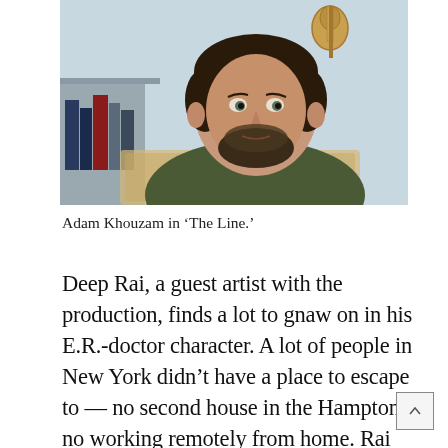[Figure (photo): Young man with beard and dark hair, wearing an olive/dark green t-shirt, sitting in front of a wooden headboard. A guitar hangs on the wall in the background. Books are visible on a shelf to the left.]
Adam Khouzam in ‘The Line.’
Deep Rai, a guest artist with the production, finds a lot to gnaw on in his E.R.-doctor character. A lot of people in New York didn’t have a place to escape to — no second house in the Hamptons, no working remotely from home. Rai — a Fresno State graduate who has worked